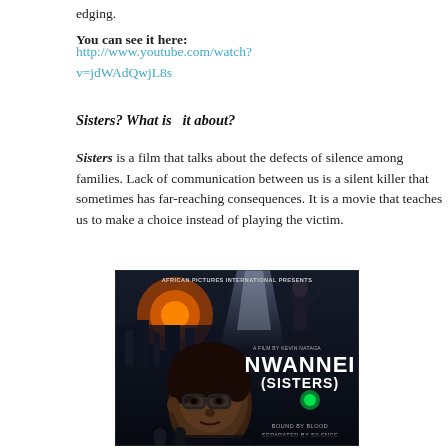edging.
You can see it here:
http://www.youtube.com/watch?v=jdWAdQwjL8s
Sisters? What is  it about?
Sisters is a film that talks about the defects of silence among families. Lack of communication between us is a silent killer that sometimes has far-reaching consequences. It is a movie that teaches us to make a choice instead of playing the victim.
[Figure (photo): Movie poster for 'Nwannei (Sisters)' - African Pictures International production by Kevin Nataga. Shows two women in dark cinematic style. Tagline: 'Bound by blood. Separated by silence.']